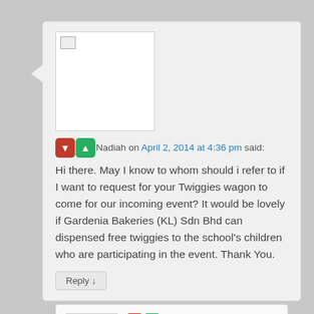Nadiah on April 2, 2014 at 4:36 pm said:
Hi there. May I know to whom should i refer to if I want to request for your Twiggies wagon to come for our incoming event? It would be lovely if Gardenia Bakeries (KL) Sdn Bhd can dispensed free twiggies to the school's children who are participating in the event. Thank You.
Reply ↓
Admin on April 8, 2014 at 1:39 pm said:
Hi Nadiah,
For inquiries about our Twiggies Wagon,